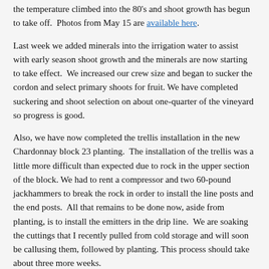the temperature climbed into the 80's and shoot growth has begun to take off. Photos from May 15 are available here.
Last week we added minerals into the irrigation water to assist with early season shoot growth and the minerals are now starting to take effect. We increased our crew size and began to sucker the cordon and select primary shoots for fruit. We have completed suckering and shoot selection on about one-quarter of the vineyard so progress is good.
Also, we have now completed the trellis installation in the new Chardonnay block 23 planting. The installation of the trellis was a little more difficult than expected due to rock in the upper section of the block. We had to rent a compressor and two 60-pound jackhammers to break the rock in order to install the line posts and the end posts. All that remains to be done now, aside from planting, is to install the emitters in the drip line. We are soaking the cuttings that I recently pulled from cold storage and will soon be callusing them, followed by planting. This process should take about three more weeks.
An update on bud break by block is available here.